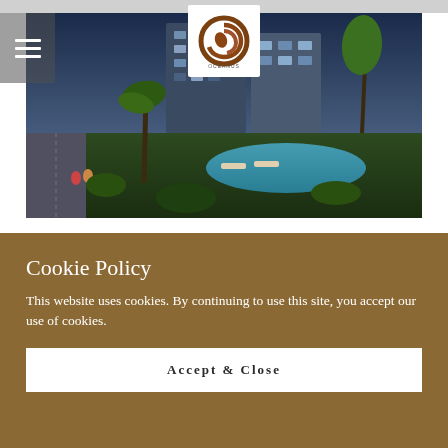[Figure (photo): Aerial/exterior render of a luxury apartment complex with pool, palm trees, and lush landscaping. The Oceanus real estate development logo (brown circular swirl with 'OCEANUS' text) is overlaid at top center. A hamburger menu icon is at the top left.]
Cookie Policy
This website uses cookies. By continuing to use this site, you accept our use of cookies.
Accept & Close